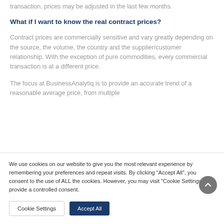transaction, prices may be adjusted in the last few months.
What if I want to know the real contract prices?
Contract prices are commercially sensitive and vary greatly depending on the source, the volume, the country and the supplier/customer relationship. With the exception of pure commodities, every commercial transaction is at a different price.
The focus at BusinessAnalytiq is to provide an accurate trend of a reasonable average price, from multiple
We use cookies on our website to give you the most relevant experience by remembering your preferences and repeat visits. By clicking "Accept All", you consent to the use of ALL the cookies. However, you may visit "Cookie Settings" to provide a controlled consent.